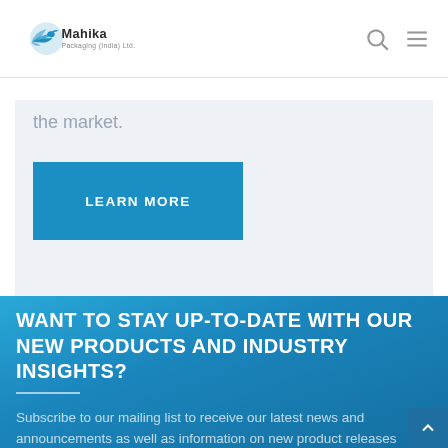Mahika Packaging (India) Ltd.
the market.
LEARN MORE
WANT TO STAY UP-TO-DATE WITH OUR NEW PRODUCTS AND INDUSTRY INSIGHTS?
Subscribe to our mailing list to receive our latest news and announcements as well as information on new product releases and